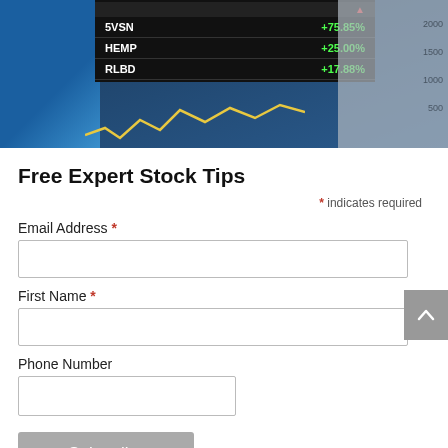[Figure (screenshot): Stock market ticker screen showing SVSN +75.85%, HEMP +25.00%, RLBD +17.88% on a dark background with a financial chart on the right side]
Free Expert Stock Tips
* indicates required
Email Address *
First Name *
Phone Number
Subscribe
[Figure (logo): Made with Mailchimp logo]